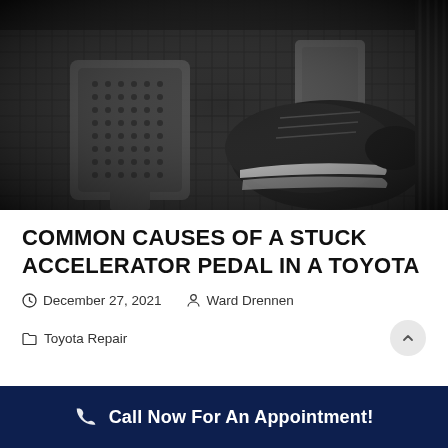[Figure (photo): Black and white close-up photo of car pedals (brake and accelerator) with a shoe/sneaker pressing on one of the pedals, on a rubber mat with grid pattern]
COMMON CAUSES OF A STUCK ACCELERATOR PEDAL IN A TOYOTA
December 27, 2021   Ward Drennen
Toyota Repair
Call Now For An Appointment!